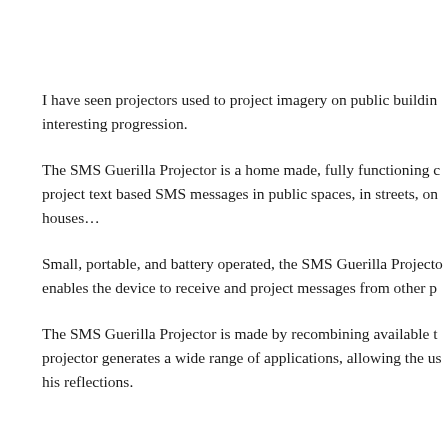I have seen projectors used to project imagery on public buildin… interesting progression.
The SMS Guerilla Projector is a home made, fully functioning c… project text based SMS messages in public spaces, in streets, on… houses…
Small, portable, and battery operated, the SMS Guerilla Projecto… enables the device to receive and project messages from other p…
The SMS Guerilla Projector is made by recombining available t… projector generates a wide range of applications, allowing the us… his reflections.